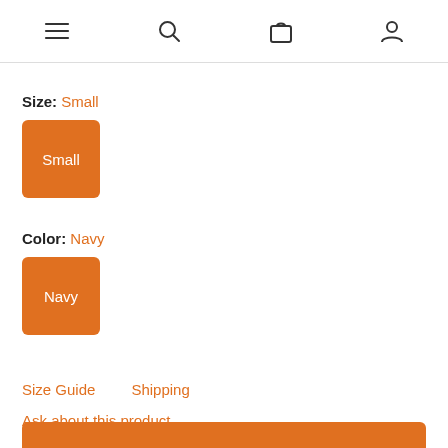Navigation icons: menu, search, bag, account
Size: Small
Small (selected button)
Color: Navy
Navy (selected button)
Size Guide    Shipping
Ask about this product
- 1 +